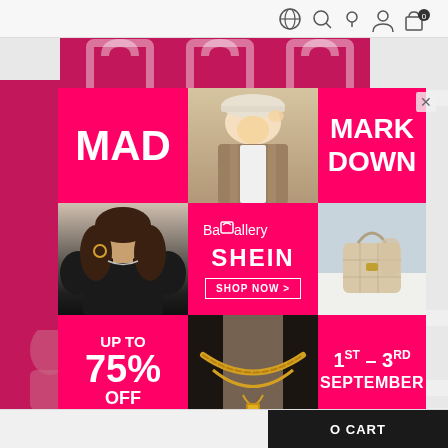[Figure (screenshot): Website navigation bar with globe, search, location, user, and cart icons (0 items)]
[Figure (infographic): BaGallery x SHEIN Mad Markdown promotional popup ad. Grid layout with 3x3 cells. Top-left pink cell: 'MAD'. Top-center: photo of woman in plaid jacket and bucket hat. Top-right pink cell: 'MARK DOWN'. Middle-left: photo of woman in black top with curly hair. Middle-center pink cell: BaGallery SHEIN logo and 'SHOP NOW>' button. Middle-right: photo of woman holding beige quilted bag. Bottom-left pink cell: 'UP TO 75% OFF'. Bottom-center: photo of gold chain necklaces. Bottom-right pink cell: '1ST – 3RD SEPTEMBER'. Close button X in top-right corner.]
t for
st: 82
120
hart
O CART